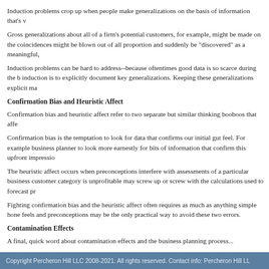Induction problems crop up when people make generalizations on the basis of information that's v
Gross generalizations about all of a firm's potential customers, for example, might be made on the coincidences might be blown out of all proportion and suddenly be "discovered" as a meaningful,
Induction problems can be hard to address--because oftentimes good data is so scarce during the b induction is to explicitly document key generalizations. Keeping these generalizations explicit ma
Confirmation Bias and Heuristic Affect
Confirmation bias and heuristic affect refer to two separate but similar thinking booboos that affe
Confirmation bias is the temptation to look for data that confirms our initial gut feel. For example business planner to look more earnestly for bits of information that confirm this upfront impressio
The heuristic affect occurs when preconceptions interfere with assessments of a particular business customer category is unprofitable may screw up or screw with the calculations used to forecast pr
Fighting confirmation bias and the heuristic affect often requires as much as anything simple hone feels and preconceptions may be the only practical way to avoid these two errors.
Contamination Effects
A final, quick word about contamination effects and the business planning process...
Contamination effects appear when a business planner allows irrelevant but tangentially related in entrepreneur planning some technology venture may allow a recently read book about the history
Avoiding contamination effects completely may be impossible. People soak up all sorts of data an contamination effect problem--especially when one is doing something as important and strategic
About the author:
CPA Stephen L. Nelson is the author of Maximizing Employee Retention Credits.
Copyright Percheron Hill LLC 2008-2021. All rights reserved. Contact info: Percheron Hill LL